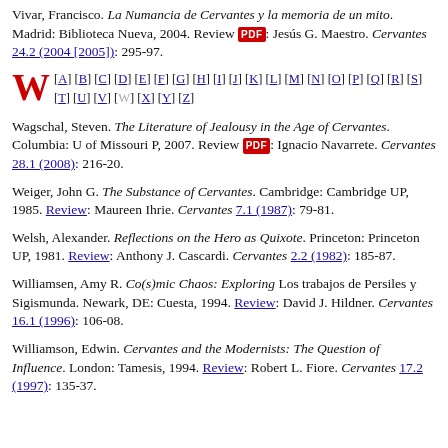Vivar, Francisco. La Numancia de Cervantes y la memoria de un mito. Madrid: Biblioteca Nueva, 2004. Review [PDF]: Jesús G. Maestro. Cervantes 24.2 (2004 [2005]): 295-97.
W [A] [B] [C] [D] [E] [F] [G] [H] [I] [J] [K] [L] [M] [N] [O] [P] [Q] [R] [S] [T] [U] [V] [W] [X] [Y] [Z]
Wagschal, Steven. The Literature of Jealousy in the Age of Cervantes. Columbia: U of Missouri P, 2007. Review [PDF]: Ignacio Navarrete. Cervantes 28.1 (2008): 216-20.
Weiger, John G. The Substance of Cervantes. Cambridge: Cambridge UP, 1985. Review: Maureen Ihrie. Cervantes 7.1 (1987): 79-81.
Welsh, Alexander. Reflections on the Hero as Quixote. Princeton: Princeton UP, 1981. Review: Anthony J. Cascardi. Cervantes 2.2 (1982): 185-87.
Williamsen, Amy R. Co(s)mic Chaos: Exploring Los trabajos de Persiles y Sigismunda. Newark, DE: Cuesta, 1994. Review: David J. Hildner. Cervantes 16.1 (1996): 106-08.
Williamson, Edwin. Cervantes and the Modernists: The Question of Influence. London: Tamesis, 1994. Review: Robert L. Fiore. Cervantes 17.2 (1997): 135-37.